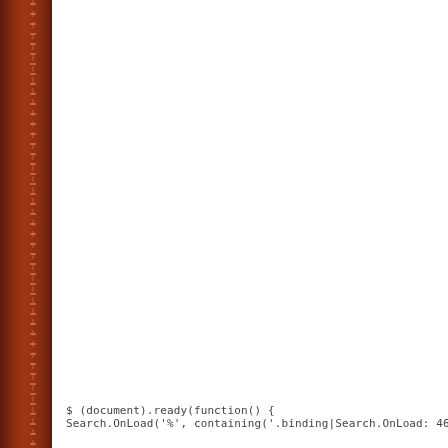$ (document).ready(function() {
Search.OnLoad('%', containing('.binding|Search.OnLoad: 465000